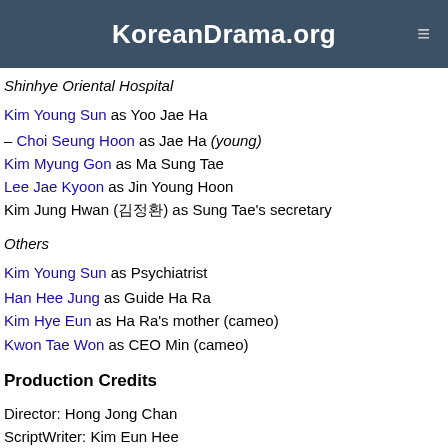KoreanDrama.org
Shinhye Oriental Hospital
Yoo Min Kyu as Yoo Jae Ha
– Choi Seung Hoon as Jae Ha (young)
Kim Myung Gon as Ma Sung Tae
Lee Jae Kyoon as Jin Young Hoon
Kim Jung Hwan (김정환) as Sung Tae's secretary
Others
Kim Young Sun as Psychiatrist
Han Hee Jung as Guide Ha Ra
Kim Hye Eun as Ha Ra's mother (cameo)
Kwon Tae Won as CEO Min (cameo)
Production Credits
Director: Hong Jong Chan
ScriptWriter: Kim Eun Hee